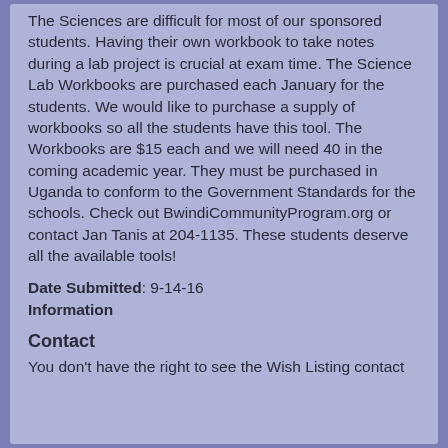The Sciences are difficult for most of our sponsored students. Having their own workbook to take notes during a lab project is crucial at exam time. The Science Lab Workbooks are purchased each January for the students. We would like to purchase a supply of workbooks so all the students have this tool. The Workbooks are $15 each and we will need 40 in the coming academic year. They must be purchased in Uganda to conform to the Government Standards for the schools. Check out BwindiCommunityProgram.org or contact Jan Tanis at 204-1135. These students deserve all the available tools!
Date Submitted: 9-14-16
Information
Contact
You don't have the right to see the Wish Listing contact